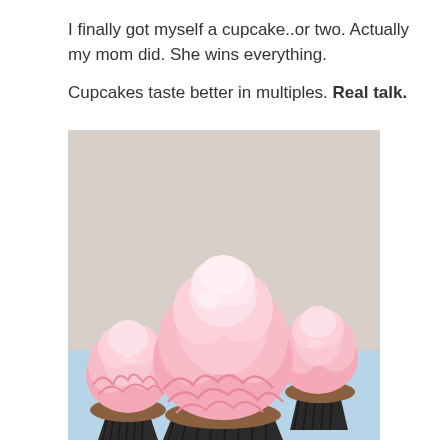I finally got myself a cupcake..or two. Actually my mom did. She wins everything.

Cupcakes taste better in multiples. Real talk.
[Figure (photo): Three chocolate cupcakes with large swirled pink frosting, arranged together on a light blue surface against a light background.]